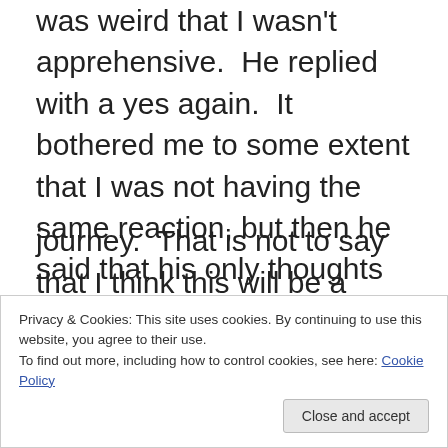was weird that I wasn't apprehensive.  He replied with a yes again.  It bothered me to some extent that I was not having the same reaction, but then he said that his only thoughts were that it was because of my education and work with children.  I mostly agreed, but found myself a bit bothered by the fact that I have little apprehension.
I feel that unlike Jason, I have had more time to read, research and delve into the world of foster care and adoption.  I have over the years as an educator established limits and preferences as to what I feel I can
journey.  That is not to say that I think this will be a
Privacy & Cookies: This site uses cookies. By continuing to use this website, you agree to their use.
To find out more, including how to control cookies, see here: Cookie Policy